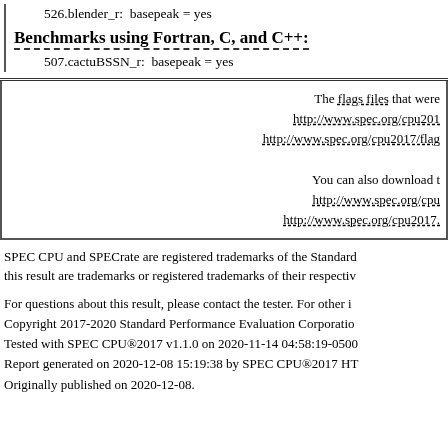526.blender_r:  basepeak = yes
Benchmarks using Fortran, C, and C++:
507.cactuBSSN_r:  basepeak = yes
The flags files that were http://www.spec.org/cpu201 http://www.spec.org/cpu2017/flag You can also download t http://www.spec.org/cpu http://www.spec.org/cpu2017.
SPEC CPU and SPECrate are registered trademarks of the Standard this result are trademarks or registered trademarks of their respectiv
For questions about this result, please contact the tester. For other i Copyright 2017-2020 Standard Performance Evaluation Corporatio Tested with SPEC CPU®2017 v1.1.0 on 2020-11-14 04:58:19-0500 Report generated on 2020-12-08 15:19:38 by SPEC CPU®2017 HT Originally published on 2020-12-08.